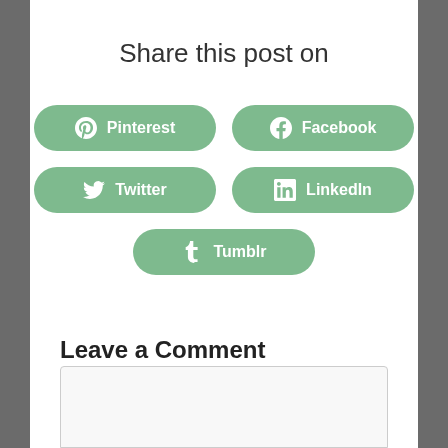Share this post on
Pinterest
Facebook
Twitter
LinkedIn
Tumblr
Leave a Comment